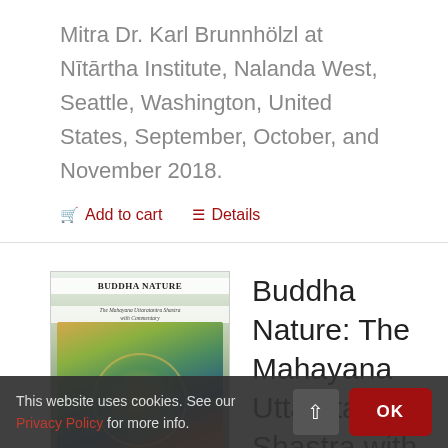Mitra Dr. Karl Brunnhölzl at Nītārtha Institute, Nalanda West, Seattle, Washington, United States, September, October, and November 2018.
Add to cart   Details
[Figure (illustration): Book cover of Buddha Nature: The Mahayana Uttaratantra Shastra with Commentary, featuring a colorful thangka-style painting of a deity figure surrounded by decorative patterns]
Buddha Nature: The Mahayana Uttaratantra Shastra with Commentary
This website uses cookies. See our Privacy Policy for more info.